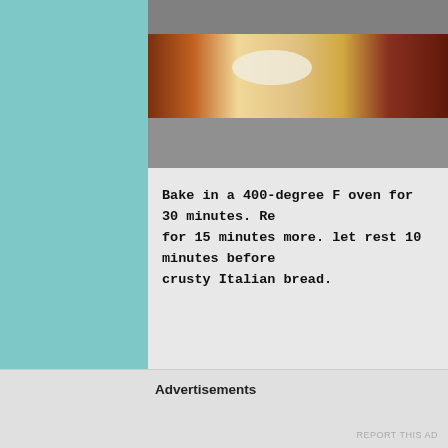[Figure (photo): Close-up photo of a baking dish with food (lasagna or similar Italian dish) seen from above, on a dark granite counter]
Bake in a 400-degree F oven for 30 minutes. Re- for 15 minutes more. let rest 10 minutes before crusty Italian bread.
[Figure (photo): Plated food photo showing bread, zucchini slices, and a meat or tomato dish on a blue polka-dot plate]
Advertisements